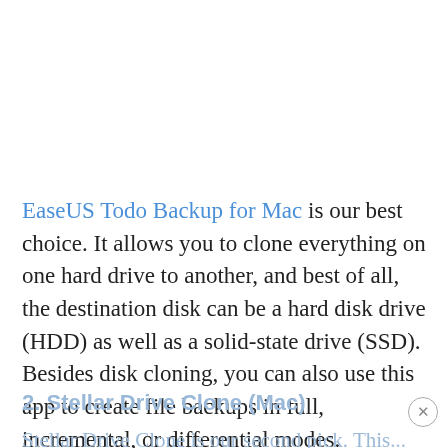EaseUS Todo Backup for Mac is our best choice. It allows you to clone everything on one hard drive to another, and best of all, the destination disk can be a hard disk drive (HDD) as well as a solid-state drive (SSD). Besides disk cloning, you can also use this app to create file backups in full, incremental, or differential modes.
2. Stellar Drive Clone (Mac)
Stellar Drive Clone is our second pick. This...